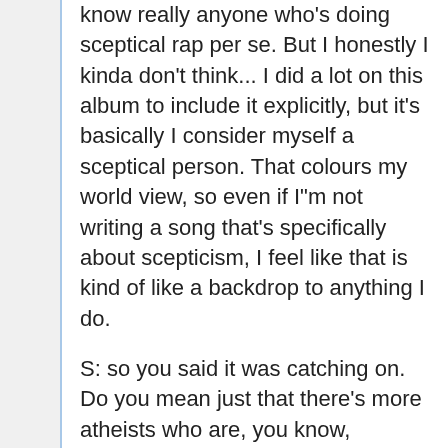know really anyone who's doing sceptical rap per se. But I honestly I kinda don't think... I did a lot on this album to include it explicitly, but it's basically I consider myself a sceptical person. That colours my world view, so even if I"m not writing a song that's specifically about scepticism, I feel like that is kind of like a backdrop to anything I do.
S: so you said it was catching on. Do you mean just that there's more atheists who are, you know, rapping, or do you think that it's catching on within the broader rap, hip hop community.
M: uh. Well, I think that's kinda hard to say for me, just because I know so many of them that I kinda have a skewed perspective on it. I definitely think that